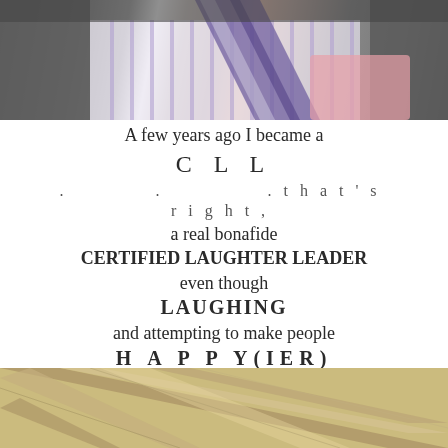[Figure (photo): Top portion of photo showing a person in a suit with striped tie and pink item, cropped at chin level]
A few years ago I became a
C L L
. . .that's right,
a real bonafide
CERTIFIED LAUGHTER LEADER
even though
LAUGHING
and attempting to make people
H A P P Y(IER)
has been a life long pursuit of mine. . .
enter the infamous JOYOLOGIST
STEVE WILSON and his beautiful bride, Pamela
[Figure (photo): Bottom portion of photo showing wooden beams or rafters, viewed from below at an angle]